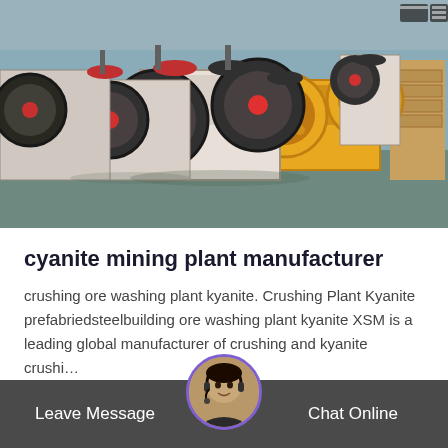[Figure (photo): Factory floor with rows of jaw crusher machines — white and yellow metal industrial crushers with large black flywheels and red accents, arranged in a manufacturing facility.]
cyanite mining plant manufacturer
crushing ore washing plant kyanite. Crushing Plant Kyanite prefabriedsteelbuilding ore washing plant kyanite XSM is a leading global manufacturer of crushing and kyanite crushi…
Get Price
Leave Message
Chat Online